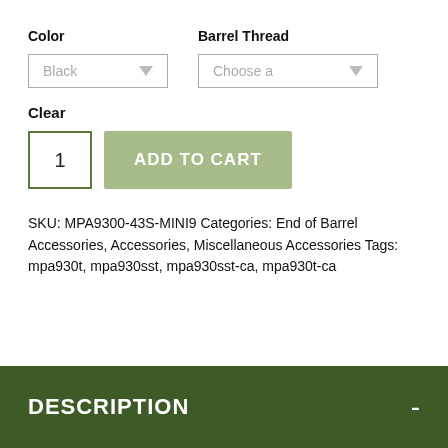Color
Barrel Thread
Black
Choose a
Clear
1
ADD TO CART
SKU: MPA9300-43S-MINI9 Categories: End of Barrel Accessories, Accessories, Miscellaneous Accessories Tags: mpa930t, mpa930sst, mpa930sst-ca, mpa930t-ca
DESCRIPTION